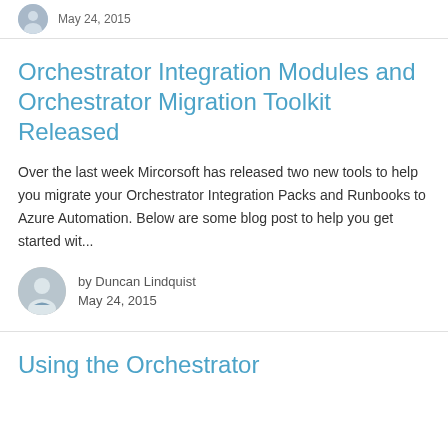May 24, 2015
Orchestrator Integration Modules and Orchestrator Migration Toolkit Released
Over the last week Mircorsoft has released two new tools to help you migrate your Orchestrator Integration Packs and Runbooks to Azure Automation. Below are some blog post to help you get started wit...
by Duncan Lindquist
May 24, 2015
Using the Orchestrator